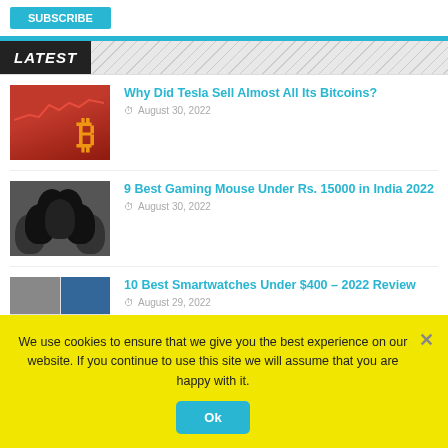LATEST
Why Did Tesla Sell Almost All Its Bitcoins? — August 30, 2022
9 Best Gaming Mouse Under Rs. 15000 in India 2022 — August 30, 2022
10 Best Smartwatches Under $400 – 2022 Review — August 29, 2022
We use cookies to ensure that we give you the best experience on our website. If you continue to use this site we will assume that you are happy with it.